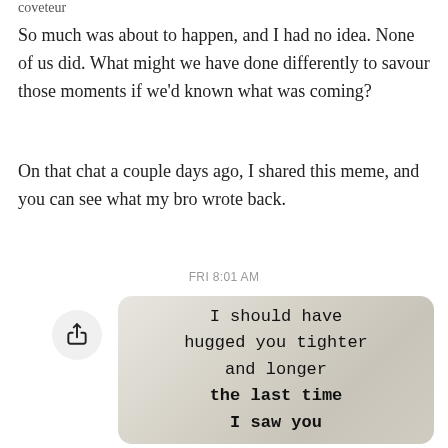coveteur
So much was about to happen, and I had no idea. None of us did. What might we have done differently to savour those moments if we'd known what was coming?
On that chat a couple days ago, I shared this meme, and you can see what my bro wrote back.
FRI 8:01 AM
[Figure (photo): A meme card with typewriter-style text reading: I should have hugged you tighter and longer the last time I saw you. Displayed as a chat message image with a share button on the left.]